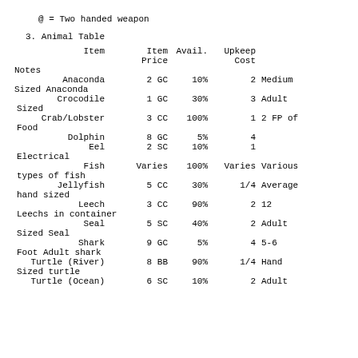@ = Two handed weapon
3. Animal Table
| Item | Item Price | Avail. | Upkeep Cost | Notes |
| --- | --- | --- | --- | --- |
| Anaconda | 2 GC | 10% | 2 | Medium Sized Anaconda |
| Crocodile | 1 GC | 30% | 3 | Adult Sized |
| Crab/Lobster | 3 CC | 100% | 1 | 2 FP of Food |
| Dolphin | 8 GC | 5% | 4 |  |
| Eel | 2 SC | 10% | 1 | Electrical |
| Fish | Varies | 100% | Varies | Various types of fish |
| Jellyfish | 5 CC | 30% | 1/4 | Average hand sized |
| Leech | 3 CC | 90% | 2 | 12 Leechs in container |
| Seal | 5 SC | 40% | 2 | Adult Sized Seal |
| Shark | 9 GC | 5% | 4 | 5-6 Foot Adult shark |
| Turtle (River) | 8 BB | 90% | 1/4 | Hand Sized turtle |
| Turtle (Ocean) | 6 SC | 10% | 2 | Adult |